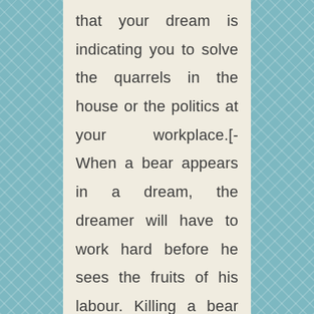that your dream is indicating you to solve the quarrels in the house or the politics at your workplace.[- When a bear appears in a dream, the dreamer will have to work hard before he sees the fruits of his labour. Killing a bear symbolizes overcoming obstacles on the path to attaining a certain goal.